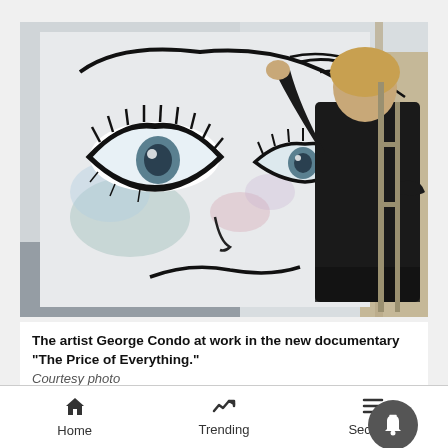[Figure (photo): Artist George Condo painting a large mural of a stylized face with bold black outlines, eyes with eyelashes, on a white canvas. Man in black jacket seen from behind reaching up.]
The artist George Condo at work in the new documentary "The Price of Everything."
Courtesy photo
IF YOU GO ...
What: "The Price of Everything," documentary by the A...
Home   Trending   Sections